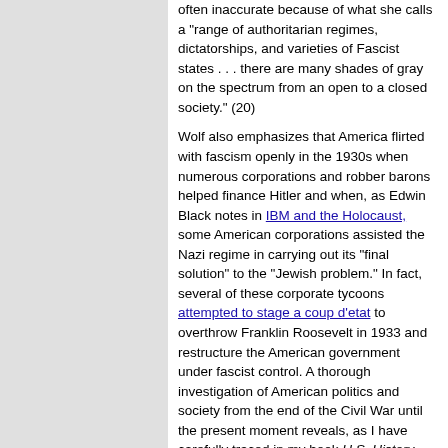often inaccurate because of what she calls a "range of authoritarian regimes, dictatorships, and varieties of Fascist states . . . there are many shades of gray on the spectrum from an open to a closed society." (20)
Wolf also emphasizes that America flirted with fascism openly in the 1930s when numerous corporations and robber barons helped finance Hitler and when, as Edwin Black notes in IBM and the Holocaust, some American corporations assisted the Nazi regime in carrying out its "final solution" to the "Jewish problem." In fact, several of these corporate tycoons attempted to stage a coup d'etat to overthrow Franklin Roosevelt in 1933 and restructure the American government under fascist control. A thorough investigation of American politics and society from the end of the Civil War until the present moment reveals, as I have carefully traced in my book U.S. History Uncensored: What Your High School Textbook Didn't Tell You, that much of recent American history is replete with a preference on the part of corporations and the politicians they own for an economic and political system on the far right end of the spectrum. In fact, resistance to fascism in the United States has been an arduous and daunting struggle for those